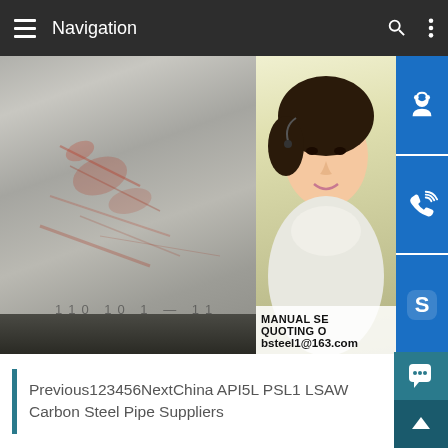Navigation
[Figure (photo): Steel plates stacked outdoors with rust markings, alongside a customer service representative photo overlay showing 'MANUAL SE... QUOTING O... bsteel1@163.com' with blue icon buttons for chat, phone, and Skype]
Previous123456NextChina API5L PSL1 LSAW Carbon Steel Pipe Suppliers